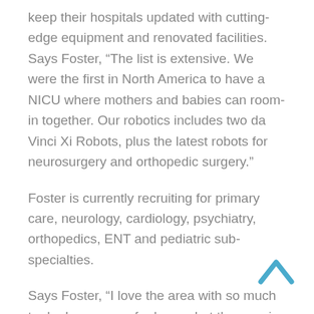keep their hospitals updated with cutting-edge equipment and renovated facilities. Says Foster, “The list is extensive. We were the first in North America to have a NICU where mothers and babies can room-in together. Our robotics includes two da Vinci Xi Robots, plus the latest robots for neurosurgery and orthopedic surgery.”
Foster is currently recruiting for primary care, neurology, cardiology, psychiatry, orthopedics, ENT and pediatric sub-specialties.
Says Foster, “I love the area with so much to do. I can go on for hours, but the gem is really the people! It’s the ‘Midwestern nice’ that you can’t beat anywhere.”